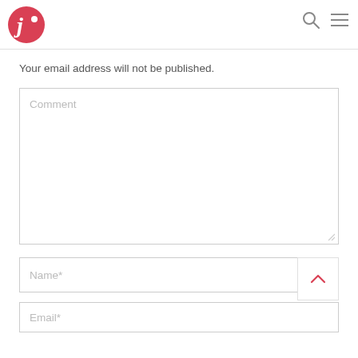[Figure (logo): Round red logo with white letter J and a dot, resembling a music note or stylized J]
Your email address will not be published.
Comment
Name*
Email*